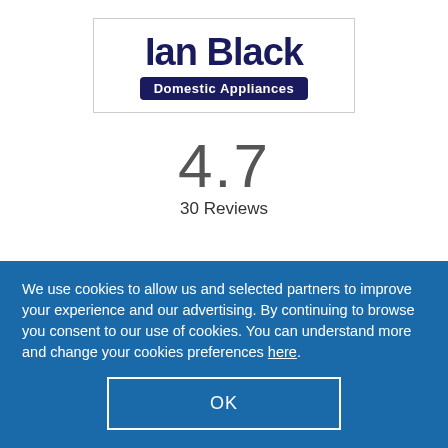[Figure (logo): Ian Black Domestic Appliances logo: large bold dark blue text 'Ian Black' above a dark blue rounded rectangle banner with white text 'Domestic Appliances']
4.7
30 Reviews
We use cookies to allow us and selected partners to improve your experience and our advertising. By continuing to browse you consent to our use of cookies. You can understand more and change your cookies preferences here.
OK